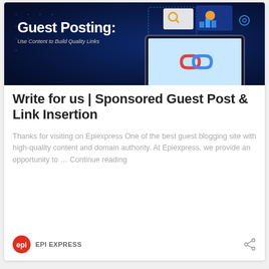[Figure (illustration): Guest Posting banner image with dark blue background, text 'Guest Posting: Use Content to Build Quality Links' and graphic of laptop with chain link icon]
Write for us | Sponsored Guest Post & Link Insertion
Thanks for visiting on Epiexpress One of the best guest blogging site with high-quality content and domain authority. At Epiexpress, we provide an opportunity to … Continue reading
EPI EXPRESS